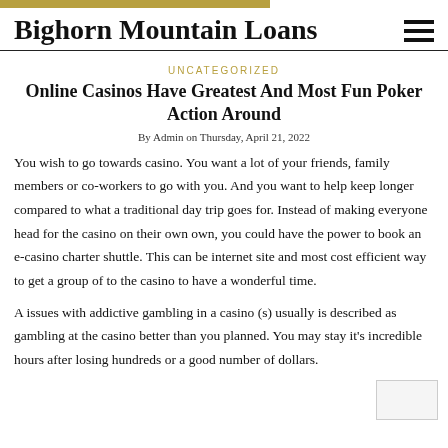Bighorn Mountain Loans
UNCATEGORIZED
Online Casinos Have Greatest And Most Fun Poker Action Around
By Admin on Thursday, April 21, 2022
You wish to go towards casino. You want a lot of your friends, family members or co-workers to go with you. And you want to help keep longer compared to what a traditional day trip goes for. Instead of making everyone head for the casino on their own own, you could have the power to book an e-casino charter shuttle. This can be internet site and most cost efficient way to get a group of to the casino to have a wonderful time.
A issues with addictive gambling in a casino (s) usually is described as gambling at the casino better than you planned. You may stay it’s incredible hours after losing hundreds or a good number of dollars.